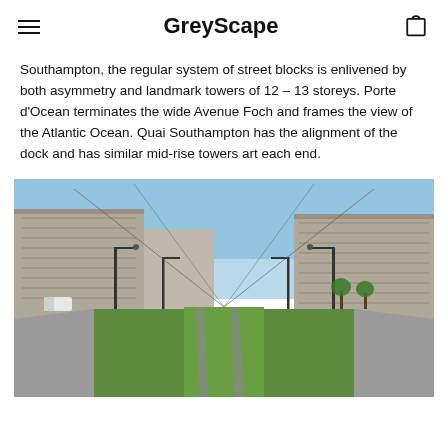GreyScape
Southampton, the regular system of street blocks is enlivened by both asymmetry and landmark towers of 12 – 13 storeys. Porte d'Ocean terminates the wide Avenue Foch and frames the view of the Atlantic Ocean. Quai Southampton has the alignment of the dock and has similar mid-rise towers art each end.
[Figure (photo): Street-level view of a wide boulevard with tram tracks running through a grass median, flanked by large modernist stone-clad buildings on both sides, under a clear blue sky.]